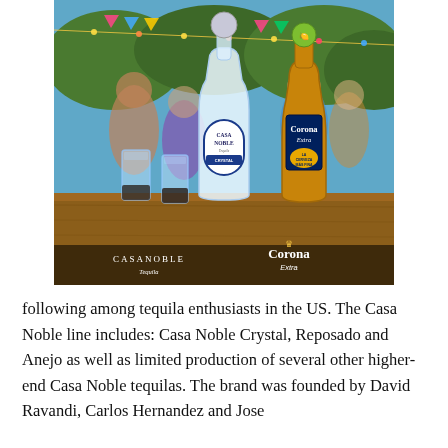[Figure (photo): Promotional photo showing a Casa Noble Crystal Tequila bottle and a Corona Extra beer bottle side by side on a wooden table, with two shot glasses in the foreground. People socializing at an outdoor party in the background with string lights and colorful decorations. Casa Noble Tequila and Corona Extra logos appear at the bottom of the image.]
following among tequila enthusiasts in the US. The Casa Noble line includes: Casa Noble Crystal, Reposado and Anejo as well as limited production of several other higher-end Casa Noble tequilas. The brand was founded by David Ravandi, Carlos Hernandez and Jose